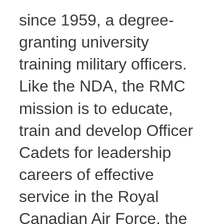since 1959, a degree-granting university training military officers. Like the NDA, the RMC mission is to educate, train and develop Officer Cadets for leadership careers of effective service in the Royal Canadian Air Force, the Royal Canadian Navy and the Canadian Army.
RMC opened its doors for the Lady Cadets in 1980.  The program